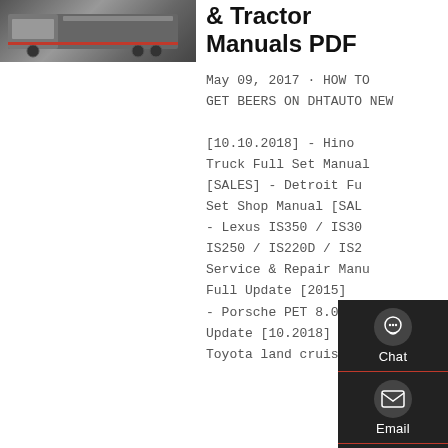[Figure (photo): Partial view of a truck/semi-trailer rear, gray background, parking lot setting]
& Tractor Manuals PDF
May 09, 2017 · HOW TO GET BEERS ON DHTAUTO NEW [10.10.2018] - Hino Truck Full Set Manuals [SALES] - Detroit Full Set Shop Manual [SALES] - Lexus IS350 / IS300 / IS250 / IS220D / IS200D Service & Repair Manual Full Update [2015] [SALES] - Porsche PET 8.0 EPC Update [10.2018] - Toyota land cruiser
[Figure (infographic): Floating dark sidebar with Chat, Email, Contact, and Top navigation icons]